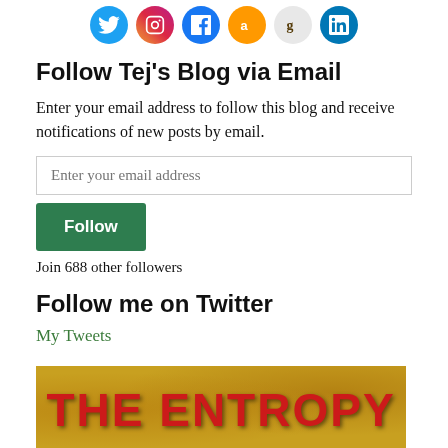[Figure (other): Social media icons row: Twitter (blue), Instagram (pink/gradient), Facebook (blue), Amazon (orange), Goodreads (grey), LinkedIn (blue)]
Follow Tej's Blog via Email
Enter your email address to follow this blog and receive notifications of new posts by email.
Enter your email address
Follow
Join 688 other followers
Follow me on Twitter
My Tweets
[Figure (photo): Book cover image with text 'THE ENTROPY' in large red letters on a golden/yellow background]